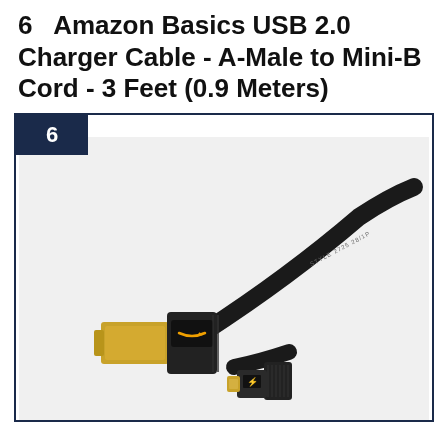6   Amazon Basics USB 2.0 Charger Cable - A-Male to Mini-B Cord - 3 Feet (0.9 Meters)
[Figure (photo): Amazon Basics USB 2.0 cable with USB-A connector (gold-plated, with Amazon logo on housing) on the left and Mini-B connector (gold-plated) on the right, both attached to a black cable. A numbered badge '6' appears in the top-left corner of a dark blue bordered card.]